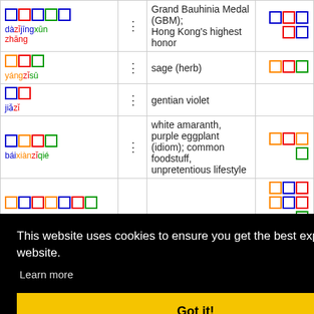| Chinese | Dot | English | Chars |
| --- | --- | --- | --- |
| 大紫荊勳章 dàzǐjīngxūn zhāng | ••• | Grand Bauhinia Medal (GBM); Hong Kong's highest honor | □□□□□ |
| 洋紫蘇 yángzǐsū | ••• | sage (herb) | □□□ |
| 甲紫 jiǎzǐ | ••• | gentian violet |  |
| 白莧紫茄 báixiànzǐqié | ••• | white amaranth, purple eggplant (idiom); common foodstuff, unpretentious lifestyle | □□□□ |
| □□□□□□□ |  |  | □□□□□□□ |
| Zǐyún Miáozú | • | □□ | □□ |
This website uses cookies to ensure you get the best experience on our website.
Learn more
Got it!